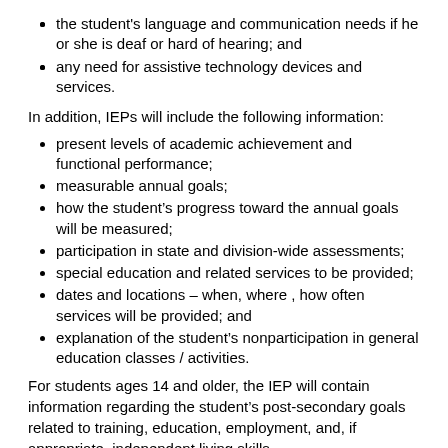the student's language and communication needs if he or she is deaf or hard of hearing; and
any need for assistive technology devices and services.
In addition, IEPs will include the following information:
present levels of academic achievement and functional performance;
measurable annual goals;
how the student's progress toward the annual goals will be measured;
participation in state and division-wide assessments;
special education and related services to be provided;
dates and locations – when, where , how often services will be provided; and
explanation of the student's nonparticipation in general education classes / activities.
For students ages 14 and older, the IEP will contain information regarding the student's post-secondary goals related to training, education, employment, and, if appropriate, independent living skills.
At least one year before the student reaches the age of